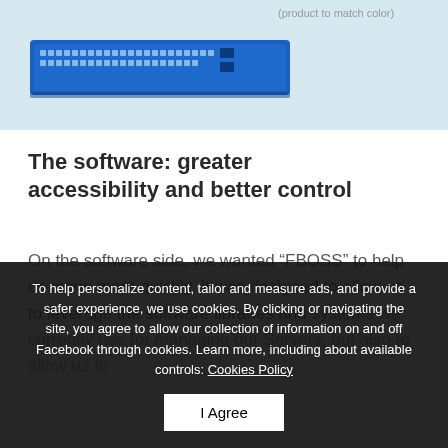[Figure (photo): Photograph of a blue network switch device (1U rack-mount form factor) on a light blue background. Faint text in upper right corner reads '(product to match color)'.]
The software: greater accessibility and better control
On the software side, we wanted “FBOSS” to help us move more quickly. It was designed to allow us to leverage the software libraries and systems we currently use for managing our Servers, but also to allow us to decouple the software development efforts and the programming of the switch hardware. We can implement our forwarding software much faster. We also a Thrift-based
To help personalize content, tailor and measure ads, and provide a safer experience, we use cookies. By clicking or navigating the site, you agree to allow our collection of information on and off Facebook through cookies. Learn more, including about available controls: Cookies Policy
I Agree